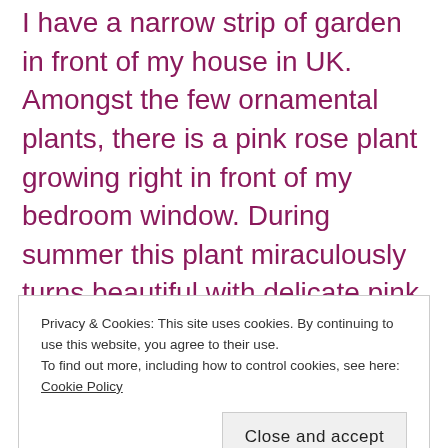I have a narrow strip of garden in front of my house in UK. Amongst the few ornamental plants, there is a pink rose plant growing right in front of my bedroom window. During summer this plant miraculously turns beautiful with delicate pink roses playing hide and seek in between the soft green leaves. Being a plant lover, I cherish this cute friend of mine and try to keep away the weeds and plastic bits from the plant's area. By the way,
Privacy & Cookies: This site uses cookies. By continuing to use this website, you agree to their use.
To find out more, including how to control cookies, see here: Cookie Policy
[Close and accept]
single rose to decorate the rose on a way